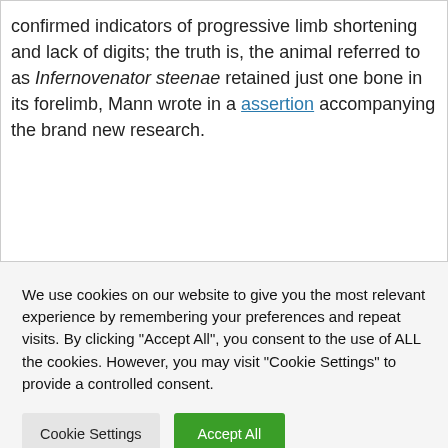confirmed indicators of progressive limb shortening and lack of digits; the truth is, the animal referred to as Infernovenator steenae retained just one bone in its forelimb, Mann wrote in a assertion accompanying the brand new research.
We use cookies on our website to give you the most relevant experience by remembering your preferences and repeat visits. By clicking "Accept All", you consent to the use of ALL the cookies. However, you may visit "Cookie Settings" to provide a controlled consent.